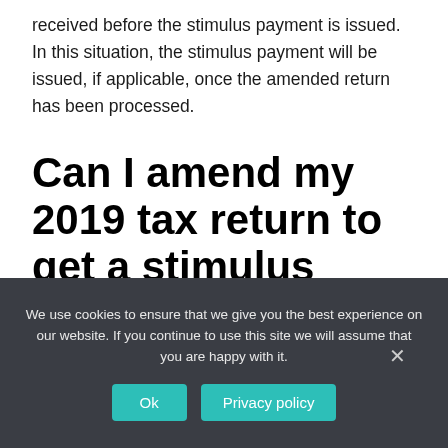received before the stimulus payment is issued. In this situation, the stimulus payment will be issued, if applicable, once the amended return has been processed.
Can I amend my 2019 tax return to get a stimulus check?
We use cookies to ensure that we give you the best experience on our website. If you continue to use this site we will assume that you are happy with it.